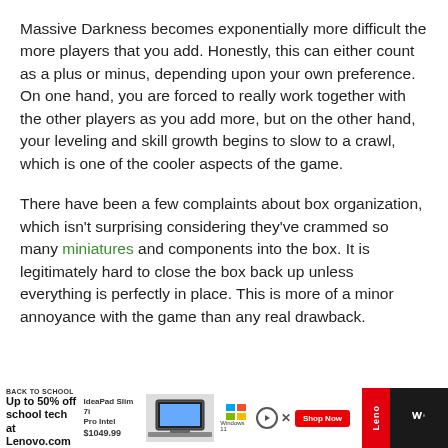Massive Darkness becomes exponentially more difficult the more players that you add. Honestly, this can either count as a plus or minus, depending upon your own preference. On one hand, you are forced to really work together with the other players as you add more, but on the other hand, your leveling and skill growth begins to slow to a crawl, which is one of the cooler aspects of the game.
There have been a few complaints about box organization, which isn't surprising considering they've crammed so many miniatures and components into the box. It is legitimately hard to close the box back up unless everything is perfectly in place. This is more of a minor annoyance with the game than any real drawback.
[Figure (other): Advertisement banner for Lenovo IdeaPad Slim 7i Pro Intel laptop - Back to School sale, Up to 50% off school tech at Lenovo.com, $1049.99, Windows 11, Shop Now button]